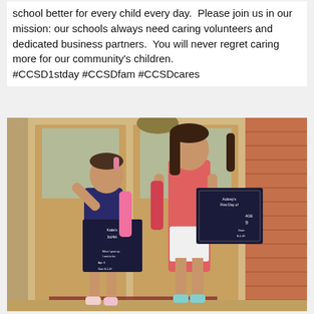school better for every child every day.  Please join us in our mission: our schools always need caring volunteers and dedicated business partners.  You will never regret caring more for our community's children. #CCSD1stday #CCSDfam #CCSDcares
[Figure (photo): Two young girls standing at a front door holding chalkboard first day of school signs. The shorter girl on the left has her arm raised and mouth open excitedly, holding a sign reading 'Katie's' with first day info. The taller girl on the right is sticking out her tongue, holding a sign reading 'Aubrey's First Day of' with age 9 and date 8-1-19.]